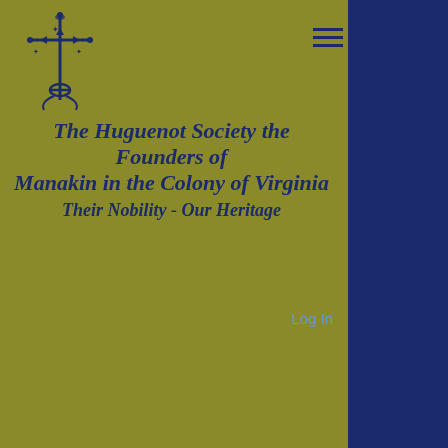[Figure (logo): Huguenot cross/anchor logo in dark blue]
The Huguenot Society the Founders of Manakin in the Colony of Virginia
Their Nobility - Our Heritage
Log In
Announcements
s in the Library of Virginia [not in the Huguenot Library at Manakin]
Call Number: 37216